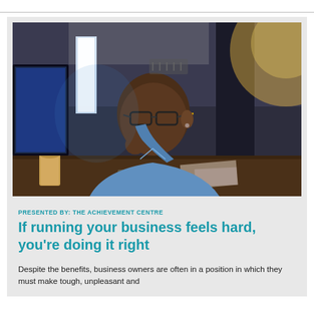[Figure (photo): A Black man in a blue shirt sitting at a desk, leaning forward with his hand to his glasses/face, appearing stressed or deep in thought, with a computer monitor and office background with warm light]
PRESENTED BY: THE ACHIEVEMENT CENTRE
If running your business feels hard, you're doing it right
Despite the benefits, business owners are often in a position in which they must make tough, unpleasant and